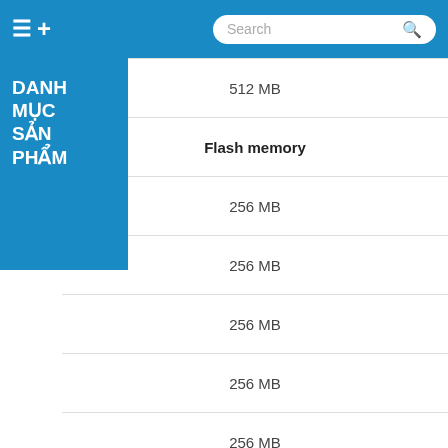≡ + DANH MUC SAN PHAM | Search
| 512 MB |
| Flash memory |
| 256 MB |
| 256 MB |
| 256 MB |
| 256 MB |
| 256 MB |
| 256 MB |